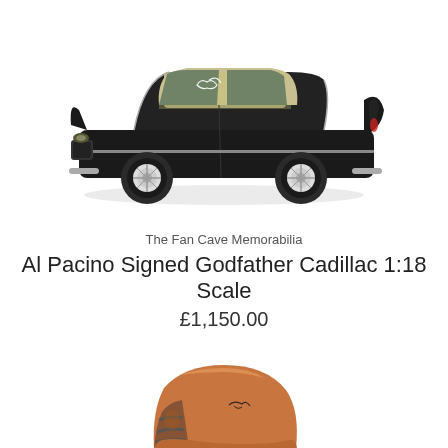[Figure (photo): A black 1:18 scale Cadillac model car (Godfather style) with a signature on the roof, shown on a white background.]
The Fan Cave Memorabilia
Al Pacino Signed Godfather Cadillac 1:18 Scale
£1,150.00
[Figure (photo): A copper/bronze colored American football mini helmet with a signature on it, partially visible at the bottom of the page.]